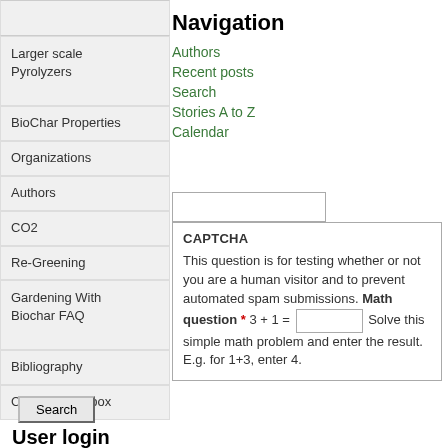Larger scale Pyrolyzers
BioChar Properties
Organizations
Authors
CO2
Re-Greening
Gardening With Biochar FAQ
Bibliography
Compost Toolbox
Navigation
Authors
Recent posts
Search
Stories A to Z
Calendar
CAPTCHA
This question is for testing whether or not you are a human visitor and to prevent automated spam submissions. Math question * 3 + 1 = Solve this simple math problem and enter the result. E.g. for 1+3, enter 4.
User login